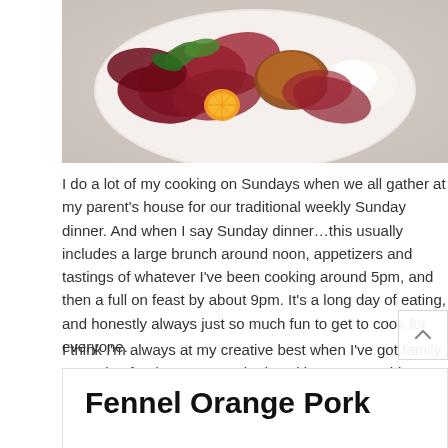[Figure (photo): Food photo showing a plate with a salad or dish featuring orange slices, radicchio, green herbs, and what appears to be a fried or breaded item, on a marble surface.]
I do a lot of my cooking on Sundays when we all gather at my parent's house for our traditional weekly Sunday dinner. And when I say Sunday dinner...this usually includes a large brunch around noon, appetizers and tastings of whatever I've been cooking around 5pm, and then a full on feast by about 9pm. It's a long day of eating, and honestly always just so much fun to get to cook for everyone.
I think I'm always at my creative best when I've got family around to feed. I get so excited cooking up something a little unique or extra exciting for those I love. Long story short, the other Sunday my brother requested meatballs. And so, these fennel orange pork meatballs were born.
Fennel Orange Pork